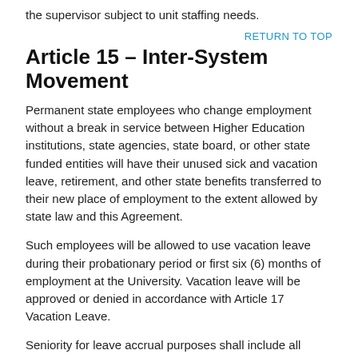the supervisor subject to unit staffing needs.
RETURN TO TOP
Article 15 – Inter-System Movement
Permanent state employees who change employment without a break in service between Higher Education institutions, state agencies, state board, or other state funded entities will have their unused sick and vacation leave, retirement, and other state benefits transferred to their new place of employment to the extent allowed by state law and this Agreement.
Such employees will be allowed to use vacation leave during their probationary period or first six (6) months of employment at the University. Vacation leave will be approved or denied in accordance with Article 17 Vacation Leave.
Seniority for leave accrual purposes shall include all